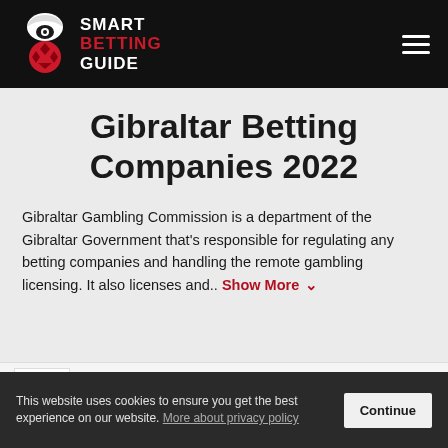Smart Betting Guide
Gibraltar Betting Companies 2022
Gibraltar Gambling Commission is a department of the Gibraltar Government that's responsible for regulating any betting companies and handling the remote gambling licensing. It also licenses and.. Show More
Gibraltar Gambling
This website uses cookies to ensure you get the best experience on our website. More about privacy policy